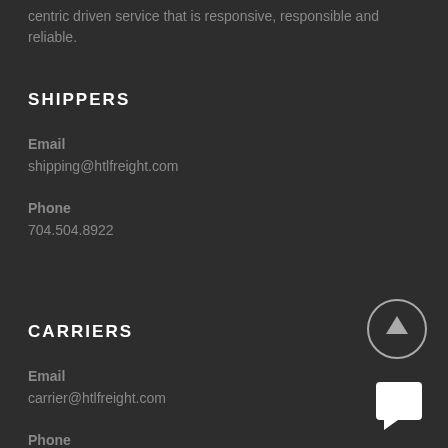centric driven service that is responsive, responsible and reliable.
SHIPPERS
Email
shipping@htlfreight.com
Phone
704.504.8922
CARRIERS
Email
carrier@htlfreight.com
Phone
704.504.8922